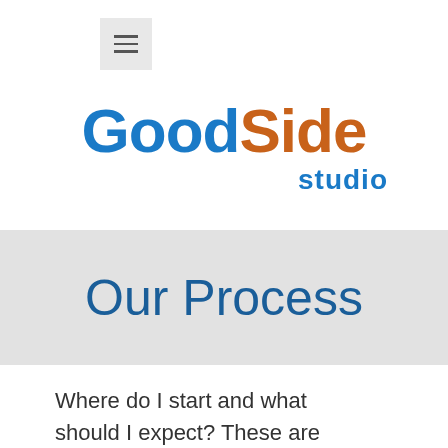[Figure (logo): GoodSide Studio logo with 'Good' in blue and 'Side' in orange, 'studio' in blue below]
Our Process
Where do I start and what should I expect? These are often the first questions we hear from clients. While you